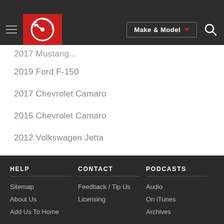Make & Model navigation bar with logo
2019 Ford F-150
2017 Chevrolet Camaro
2015 Chevrolet Camaro
2012 Volkswagen Jetta
2018 Ford F-150
HELP
Sitemap
About Us
Add Us To Home
CONTACT
Feedback / Tip Us
Licensing
PODCASTS
Audio
On iTunes
Archives